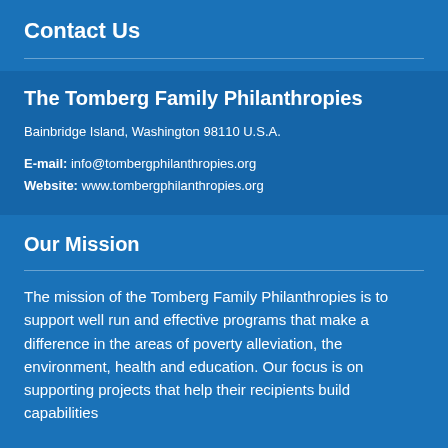Contact Us
The Tomberg Family Philanthropies
Bainbridge Island, Washington 98110 U.S.A.
E-mail: info@tombergphilanthropies.org
Website: www.tombergphilanthropies.org
Our Mission
The mission of the Tomberg Family Philanthropies is to support well run and effective programs that make a difference in the areas of poverty alleviation, the environment, health and education. Our focus is on supporting projects that help their recipients build capabilities